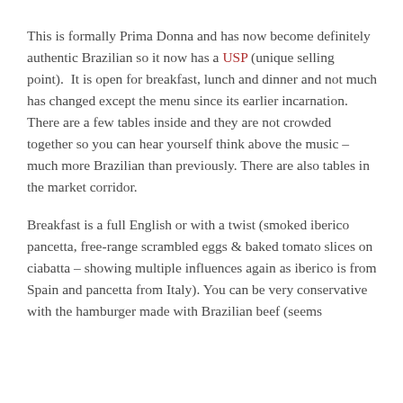This is formally Prima Donna and has now become definitely authentic Brazilian so it now has a USP (unique selling point). It is open for breakfast, lunch and dinner and not much has changed except the menu since its earlier incarnation. There are a few tables inside and they are not crowded together so you can hear yourself think above the music – much more Brazilian than previously. There are also tables in the market corridor.
Breakfast is a full English or with a twist (smoked iberico pancetta, free-range scrambled eggs & baked tomato slices on ciabatta – showing multiple influences again as iberico is from Spain and pancetta from Italy). You can be very conservative with the hamburger made with Brazilian beef (seems